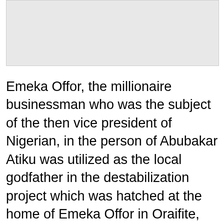[Figure (photo): Image placeholder at top of page, light gray background]
Emeka Offor, the millionaire businessman who was the subject of the then vice president of Nigerian, in the person of Abubakar Atiku was utilized as the local godfather in the destabilization project which was hatched at the home of Emeka Offor in Oraifite, Anambra by the Abuja political mobsters. The plan to destabilize the government of Anambra also saw the formation of the now infamous Anambra People's Front [APF]. As publicly known, the plan was hatched owing to the oversized appetite on the part of the local godfathers and the Abuja political mobsters towards sharing of the Anambra treasury. Particularly, the crack in relationship between the then governor of Anambra